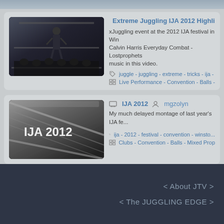[Figure (screenshot): Top navigation/header bar of a juggling video website]
Extreme Juggling IJA 2012 Highlights
xJuggling event at the 2012 IJA festival in Win... Calvin Harris Everyday Combat - Lostprophets music in this video.
juggle - juggling - extreme - tricks - ija -
Live Performance - Convention - Balls -
IJA 2012   mgzolyn
My much delayed montage of last year's IJA fe...
ija - 2012 - festival - convention - winsto...
Clubs - Convention - Balls - Mixed Prop
< About JTV >  < The JUGGLING EDGE >